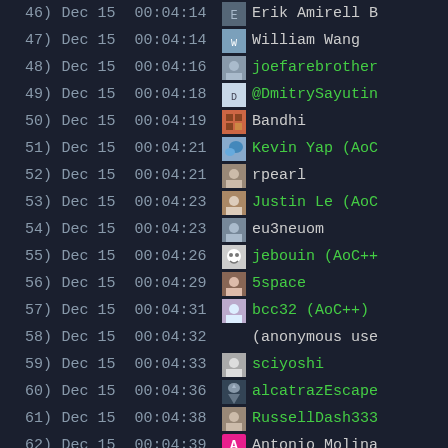| # | Date | Time | User |
| --- | --- | --- | --- |
| 46) | Dec 15 | 00:04:14 | Erik Amirell B |
| 47) | Dec 15 | 00:04:14 | William Wang |
| 48) | Dec 15 | 00:04:16 | joefarebrother |
| 49) | Dec 15 | 00:04:18 | @DmitrySayutin |
| 50) | Dec 15 | 00:04:19 | Bandhi |
| 51) | Dec 15 | 00:04:21 | Kevin Yap (AoC |
| 52) | Dec 15 | 00:04:21 | rpearl |
| 53) | Dec 15 | 00:04:23 | Justin Le (AoC |
| 54) | Dec 15 | 00:04:23 | eu3neuom |
| 55) | Dec 15 | 00:04:26 | jebouín (AoC++ |
| 56) | Dec 15 | 00:04:29 | 5space |
| 57) | Dec 15 | 00:04:31 | bcc32 (AoC++) |
| 58) | Dec 15 | 00:04:32 | (anonymous use |
| 59) | Dec 15 | 00:04:33 | sciyoshi |
| 60) | Dec 15 | 00:04:36 | alcatrazEscape |
| 61) | Dec 15 | 00:04:38 | RussellDash333 |
| 62) | Dec 15 | 00:04:39 | Antonio Molina |
| 63) | Dec 15 | 00:04:39 | jo3-l |
| 64) | Dec 15 | 00:04:43 | Exaphis |